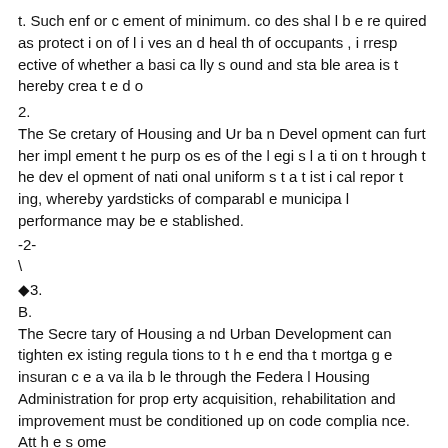t. Such enforcement of minimum. codes shall be required as protection of lives and health of occupants, irrespective of whether a basically sound and stable area is thereby created o
2.
The Secretary of Housing and Urban Development can further implement the purposes of the legislation through the development of national uniform statistical reporting, whereby yardsticks of comparable municipal performance may be established.
-2-
\
◆3.
B.
The Secretary of Housing and Urban Development can tighten existing regulations to the end that mortgage insurance available through the Federal Housing Administration for property acquisition, rehabilitation and improvement must be conditioned up on code compliance. Att h e s ome